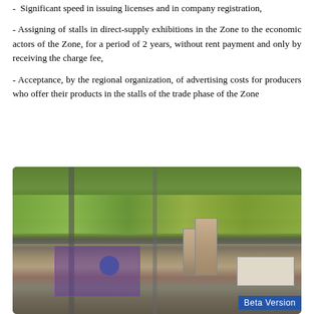- Significant speed in issuing licenses and in company registration,
- Assigning of stalls in direct-supply exhibitions in the Zone to the economic actors of the Zone, for a period of 2 years, without rent payment and only by receiving the charge fee,
- Acceptance, by the regional organization, of advertising costs for producers who offer their products in the stalls of the trade phase of the Zone
[Figure (photo): Aerial photograph of an industrial/commercial zone showing roads, buildings including a tall residential tower, warehouses, a purple-tinted construction zone, green agricultural fields in the background, and various infrastructure.]